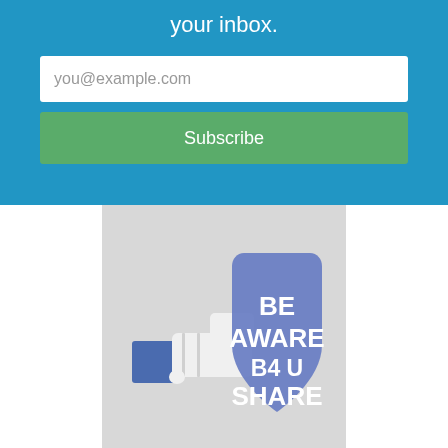your inbox.
you@example.com
Subscribe
[Figure (illustration): A blue police-style shield badge with white bold text reading 'BE AWARE B4 U SHARE', with a Facebook-style pointing hand icon on the left, on a light grey background.]